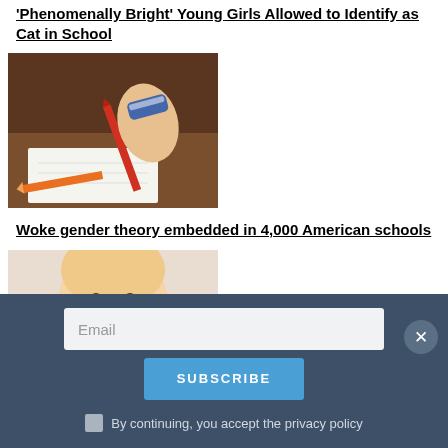'Phenomenally Bright' Young Girls Allowed to Identify as Cat in School
[Figure (photo): Child's hands drawing/writing with colored pencils on paper]
Woke gender theory embedded in 4,000 American schools
[Figure (photo): Baby looking at camera]